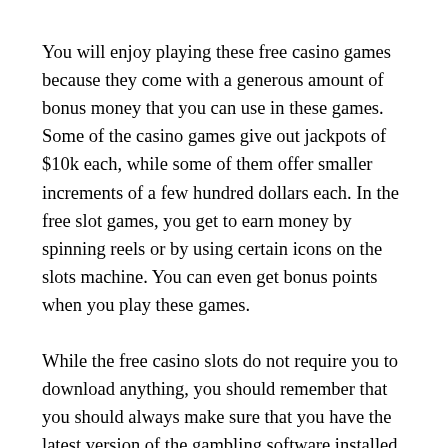You will enjoy playing these free casino games because they come with a generous amount of bonus money that you can use in these games. Some of the casino games give out jackpots of $10k each, while some of them offer smaller increments of a few hundred dollars each. In the free slot games, you get to earn money by spinning reels or by using certain icons on the slots machine. You can even get bonus points when you play these games.
While the free casino slots do not require you to download anything, you should remember that you should always make sure that you have the latest version of the gambling software installed in your computer so that you do not have to take your chances with an old version of the software. This is because some of these casino games require that you download additional files or plug-ins to be able